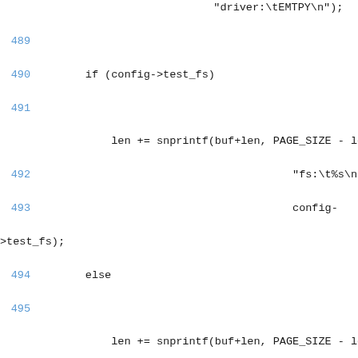Source code listing lines 489-508 of a C kernel driver file